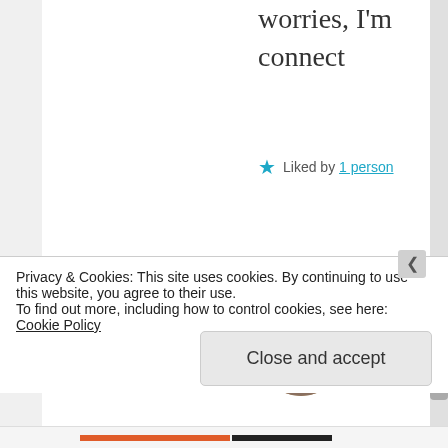worries, I'm connect
★ Liked by 1 person
[Figure (photo): Circular avatar photo of maria sjostrand, a woman with long blonde hair]
maria sjostrand
MARCH 6, 2017
Privacy & Cookies: This site uses cookies. By continuing to use this website, you agree to their use. To find out more, including how to control cookies, see here: Cookie Policy
Close and accept